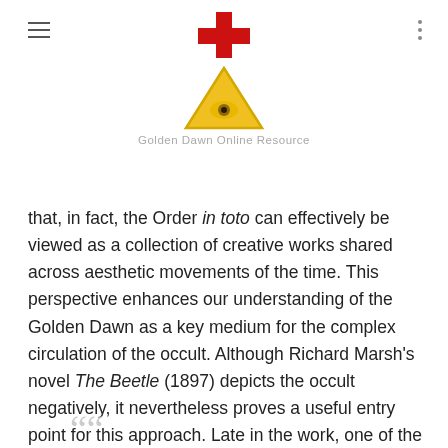Golden Dawn Online Resource
that, in fact, the Order in toto can effectively be viewed as a collection of creative works shared across aesthetic movements of the time. This perspective enhances our understanding of the Golden Dawn as a key medium for the complex circulation of the occult. Although Richard Marsh's novel The Beetle (1897) depicts the occult negatively, it nevertheless proves a useful entry point for this approach. Late in the work, one of the heroes finally realizes he cannot erase his personal experience of an ancient Egyptian cult of Isis that practiced the sacrifice of young women. But in trying to make sense of this part of his past, he finds the coherence of his story relies on the narratives of others:
““